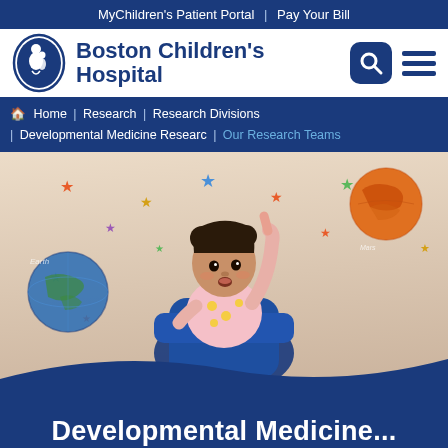MyChildren's Patient Portal  |  Pay Your Bill
[Figure (logo): Boston Children's Hospital logo with oval emblem and hospital name]
Home | Research | Research Divisions | Developmental Medicine Researc | Our Research Teams
[Figure (photo): Young toddler girl with pigtails sitting in a blue chair, pointing upward with one finger, in a room decorated with colorful stars and planet wall stickers]
Developmental Medicine...